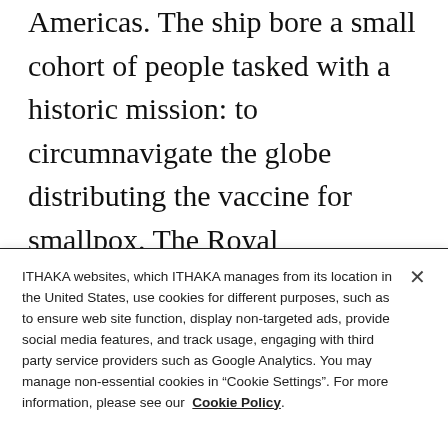Americas. The ship bore a small cohort of people tasked with a historic mission: to circumnavigate the globe distributing the vaccine for smallpox. The Royal Philanthropic Vaccine Expedition, as it was called, was staffed by a handful of physicians, two surgeons, and four nurses. The vaccine itself was carried beneath the skin of twenty-two orphan boys,
ITHAKA websites, which ITHAKA manages from its location in the United States, use cookies for different purposes, such as to ensure web site function, display non-targeted ads, provide social media features, and track usage, engaging with third party service providers such as Google Analytics. You may manage non-essential cookies in “Cookie Settings”. For more information, please see our Cookie Policy.